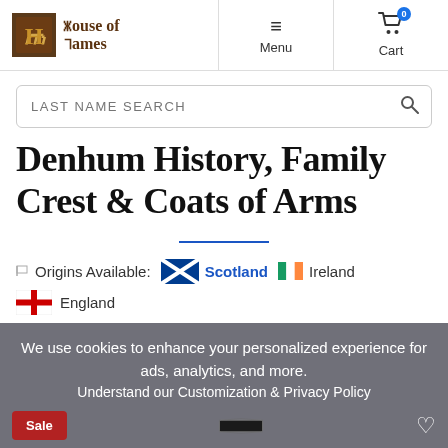House of Names — Menu — Cart (0)
LAST NAME SEARCH
Denhum History, Family Crest & Coats of Arms
Origins Available: Scotland  Ireland  England
We use cookies to enhance your personalized experience for ads, analytics, and more. Understand our Customization & Privacy Policy